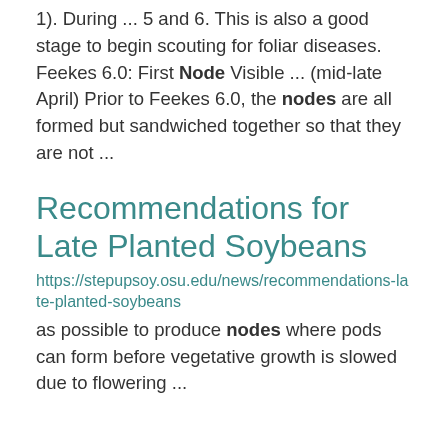1). During ... 5 and 6. This is also a good stage to begin scouting for foliar diseases. Feekes 6.0: First Node Visible ... (mid-late April) Prior to Feekes 6.0, the nodes are all formed but sandwiched together so that they are not ...
Recommendations for Late Planted Soybeans
https://stepupsoy.osu.edu/news/recommendations-late-planted-soybeans
as possible to produce nodes where pods can form before vegetative growth is slowed due to flowering ...